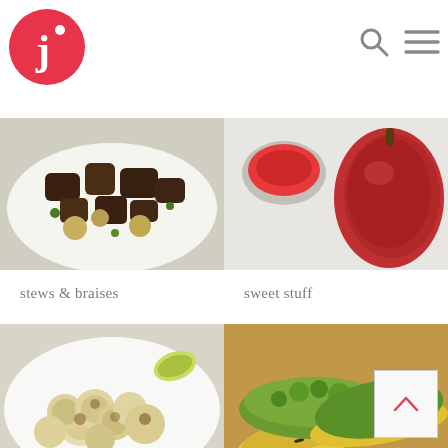[Figure (logo): Round red circle with white 'j' letter and dot, recipe/food website logo]
[Figure (other): Search icon (magnifying glass) in gray]
[Figure (other): Hamburger menu icon (three horizontal lines) in gray]
[Figure (photo): Top-down photo of stews and braises dish with dark meat and green vegetables on white plate]
[Figure (photo): Top-down photo of sweet stuff - red/tomato sauce in bowl with bright red sauce]
stews & braises
sweet stuff
[Figure (photo): Roasted cauliflower florets on a white plate with lime wedge]
[Figure (photo): Yellow corn tacos filled with green vegetables and herbs on wooden board]
vegetables
vegetarian
[Figure (other): Back to top button with upward-pointing caret arrow]